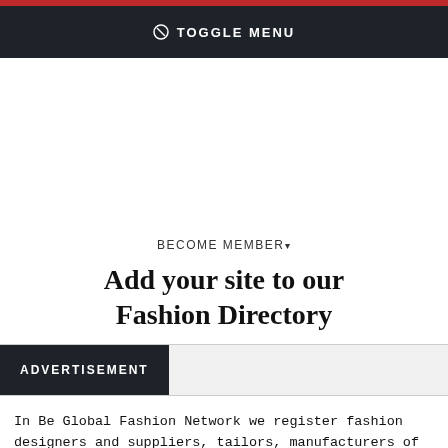⊘ TOGGLE MENU
BECOME MEMBER▾
Add your site to our Fashion Directory
ADVERTISEMENT
In Be Global Fashion Network we register fashion designers and suppliers, tailors, manufacturers of apparel and other fashion goods (accessories, shoes, bags, jewellery, perfumes etc.) and